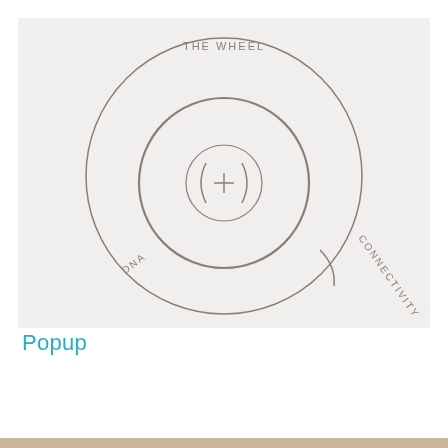[Figure (other): Concentric circles diagram labeled 'The Wheel'. Outer large circle with text 'THE WHEEL' at top, 'DNA' at bottom-left, and 'CONNECTIVITY' at bottom-right with a short arc line. Inner smaller circle with a (+) symbol flanked by parentheses (( + )) representing connectivity/signal. Background is light gray.]
Popup